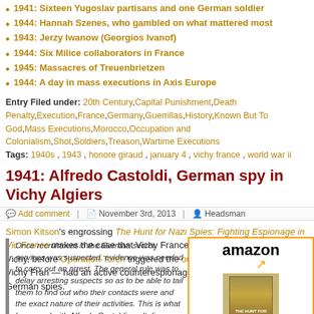1941: Sixteen Yugoslav partisans and one German soldier
1944: Hannah Szenes, who gambled on what mattered most
1943: Jerzy Iwanow (Georgios Ivanof)
1944: Six Milice collaborators in France
1945: Massacres of Treuenbrietzen
1944: A day in mass executions in Axis Europe
Entry Filed under: 20th Century, Capital Punishment, Death Penalty, Execution, France, Germany, Guerrillas, History, Known But To God, Mass Executions, Morocco, Occupation and Colonialism, Shot, Soldiers, Treason, Wartime Executions
Tags: 1940s , 1943 , honore giraud , january 4 , vichy france , world war ii
1941: Alfredo Castoldi, German spy in Vichy Algiers
Add comment | November 3rd, 2013 | Headsman
Simon Kitson's engrossing The Hunt for Nazi Spies: Fighting Espionage in Vichy France makes the case that Vichy France — and in particular, 1940-42 Vichy, before Operation Torch triggered the outright German occupation of Vichy France — had an active counterespionage program working against German spies.
Once recruitment in the German secret services was suspected, evidence was needed to carry out an arrest. The general rule was to delay arresting suspects so as to be able to tail them to find out who their contacts were and the exact nature of their activities. This is what happened with Alfredo Castoldi, an Italian working for the Germans. Castoldi...
[Figure (logo): Amazon logo with orange arrow and book image]